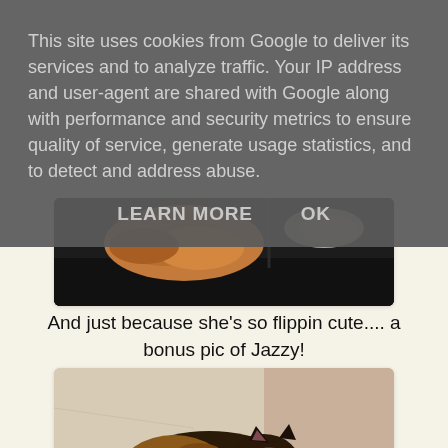This site uses cookies from Google to deliver its services and to analyze traffic. Your IP address and user-agent are shared with Google along with performance and security metrics to ensure quality of service, generate usage statistics, and to detect and address abuse.
LEARN MORE   OK
[Figure (photo): Partially visible photo of food items (appears to be cooked meat/chicken) on a dark plate or tray, cropped at the top of view]
And just because she's so flippin cute.... a bonus pic of Jazzy!
[Figure (photo): A tortoiseshell cat named Jazzy curled up sleeping on a light-colored blanket or cushion]